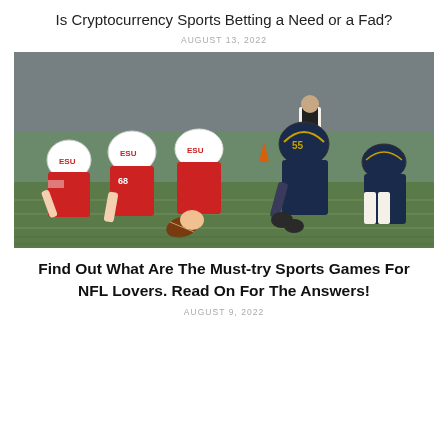Is Cryptocurrency Sports Betting a Need or a Fad?
AUGUST 13, 2022
[Figure (photo): Football players from two teams facing off at the line of scrimmage. Left team in white ESU helmets and red jerseys, right team in dark navy uniforms with number 55 visible. Players crouched low, ball on the ground ready for snap. Referee visible in background.]
Find Out What Are The Must-try Sports Games For NFL Lovers. Read On For The Answers!
AUGUST 9, 2022